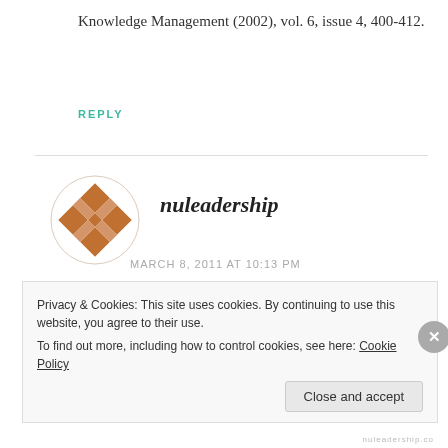Knowledge Management (2002), vol. 6, issue 4, 400-412.
REPLY
[Figure (illustration): Circular avatar icon with brown geometric/quilt-like pattern on white background]
nuleadership
MARCH 8, 2011 AT 10:13 PM
Kim, great points!
Privacy & Cookies: This site uses cookies. By continuing to use this website, you agree to their use.
To find out more, including how to control cookies, see here: Cookie Policy
Close and accept
nuleadership.co